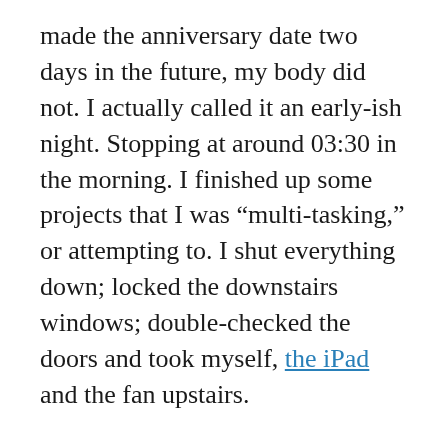made the anniversary date two days in the future, my body did not. I actually called it an early-ish night. Stopping at around 03:30 in the morning. I finished up some projects that I was “multi-tasking,” or attempting to. I shut everything down; locked the downstairs windows; double-checked the doors and took myself, the iPad and the fan upstairs.
After checking all the windows upstairs, I then went to bed.
I was tired.  I had walked over five miles